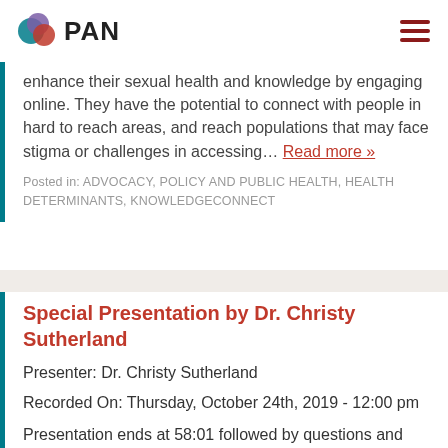PAN
enhance their sexual health and knowledge by engaging online. They have the potential to connect with people in hard to reach areas, and reach populations that may face stigma or challenges in accessing… Read more »
Posted in: ADVOCACY, POLICY AND PUBLIC HEALTH, HEALTH DETERMINANTS, KNOWLEDGECONNECT
Special Presentation by Dr. Christy Sutherland
Presenter: Dr. Christy Sutherland
Recorded On: Thursday, October 24th, 2019 - 12:00 pm
Presentation ends at 58:01 followed by questions and comments. We were pleased to welcome Dr. Christy Sutherland, Medical Director of PHS Community